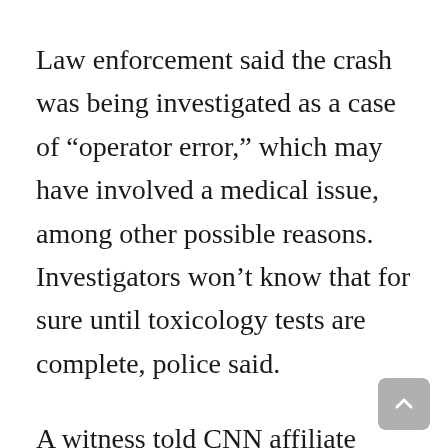Law enforcement said the crash was being investigated as a case of “operator error,” which may have involved a medical issue, among other possible reasons. Investigators won’t know that for sure until toxicology tests are complete, police said.
A witness told CNN affiliate KTRK that a person in a silver SUV intentionally ran over people in the parade.
The intersection where the crash happened is the same one where an 18-year-old man